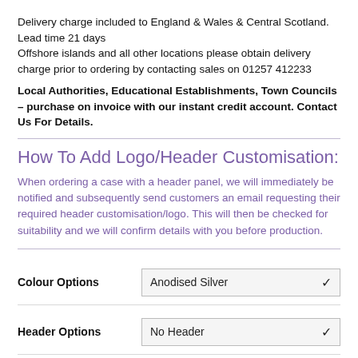Delivery charge included to England & Wales & Central Scotland. Lead time 21 days
Offshore islands and all other locations please obtain delivery charge prior to ordering by contacting sales on 01257 412233
Local Authorities, Educational Establishments, Town Councils – purchase on invoice with our instant credit account. Contact Us For Details.
How To Add Logo/Header Customisation:
When ordering a case with a header panel, we will immediately be notified and subsequently send customers an email requesting their required header customisation/logo. This will then be checked for suitability and we will confirm details with you before production.
| Field | Value |
| --- | --- |
| Colour Options | Anodised Silver |
| Header Options | No Header |